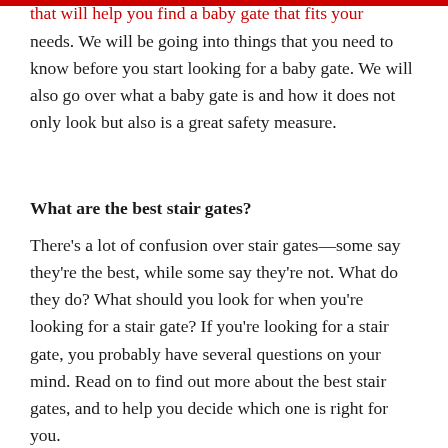that will help you find a baby gate that fits your needs. We will be going into things that you need to know before you start looking for a baby gate. We will also go over what a baby gate is and how it does not only look but also is a great safety measure.
What are the best stair gates?
There's a lot of confusion over stair gates—some say they're the best, while some say they're not. What do they do? What should you look for when you're looking for a stair gate? If you're looking for a stair gate, you probably have several questions on your mind. Read on to find out more about the best stair gates, and to help you decide which one is right for you.